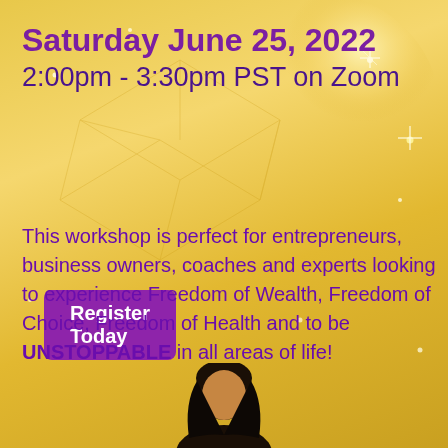Saturday June 25, 2022
2:00pm - 3:30pm PST on Zoom
Register Today
This workshop is perfect for entrepreneurs, business owners, coaches and experts looking to experience Freedom of Wealth, Freedom of Choice, Freedom of Health and to be UNSTOPPABLE in all areas of life!
[Figure (photo): Partial view of a person (head/shoulders) at the bottom center of the image]